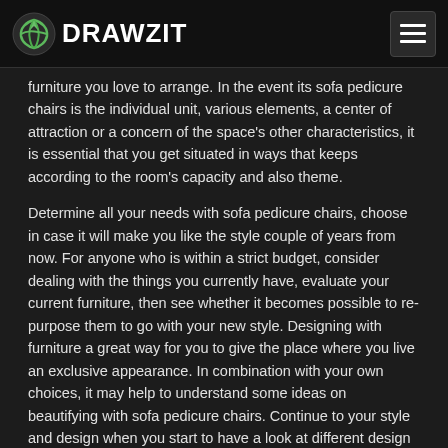DRAWZIT
furniture you love to arrange. In the event its sofa pedicure chairs is the individual unit, various elements, a center of attraction or a concern of the space's other characteristics, it is essential that you get situated in ways that keeps according to the room's capacity and also theme.
Determine all your needs with sofa pedicure chairs, choose in case it will make you like the style couple of years from now. For anyone who is within a strict budget, consider dealing with the things you currently have, evaluate your current furniture, then see whether it becomes possible to re-purpose them to go with your new style. Designing with furniture a great way for you to give the place where you live an exclusive appearance. In combination with your own choices, it may help to understand some ideas on beautifying with sofa pedicure chairs. Continue to your style and design when you start to have a look at different design and style, home furnishings, and also accessories alternatives and then enhance to have your home a relaxing and also interesting one.